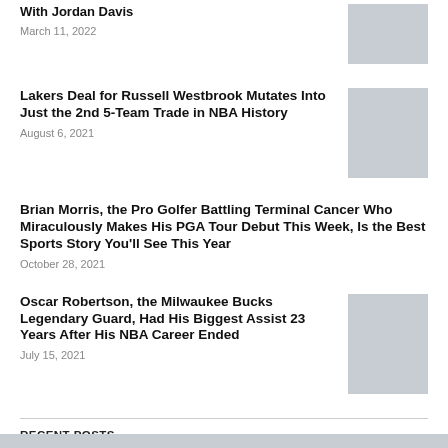With Jordan Davis
March 11, 2022
Lakers Deal for Russell Westbrook Mutates Into Just the 2nd 5-Team Trade in NBA History
August 6, 2021
Brian Morris, the Pro Golfer Battling Terminal Cancer Who Miraculously Makes His PGA Tour Debut This Week, Is the Best Sports Story You'll See This Year
October 28, 2021
Oscar Robertson, the Milwaukee Bucks Legendary Guard, Had His Biggest Assist 23 Years After His NBA Career Ended
July 15, 2021
RECENT POSTS